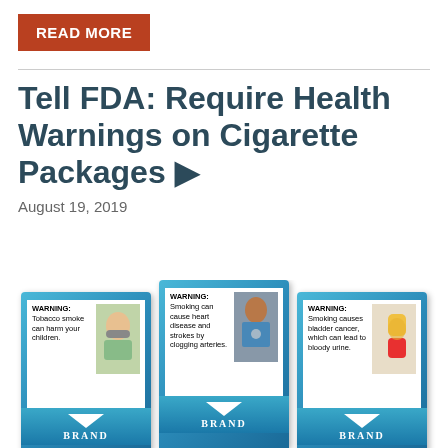READ MORE
Tell FDA: Require Health Warnings on Cigarette Packages ▶
August 19, 2019
[Figure (photo): Three cigarette packages with graphic health warning labels: (1) WARNING: Tobacco smoke can harm your children. (2) WARNING: Smoking can cause heart disease and strokes by clogging arteries. (3) WARNING: Smoking causes bladder cancer, which can lead to bloody urine. All packages show BRAND label at bottom.]